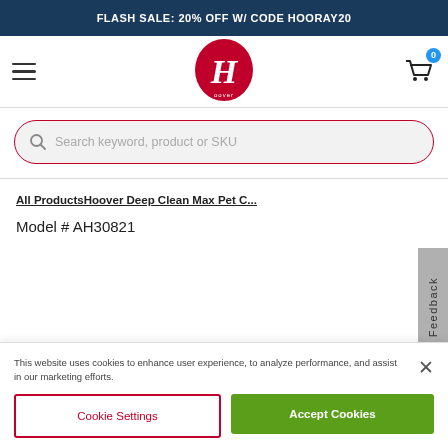FLASH SALE: 20% OFF W/ CODE HOORAY20
[Figure (logo): Hoover brand logo — red circular badge with stylized H]
[Figure (screenshot): Search bar with magnifying glass icon and placeholder 'Search keyword, product or SKU', outlined in red on light grey background]
All ProductsHoover Deep Clean Max Pet C...
Model # AH30821
[Figure (photo): Top portion of a white plastic bottle with a dark red/crimson cap — Hoover cleaning solution product]
This website uses cookies to enhance user experience, to analyze performance, and assist in our marketing efforts.
Cookie Settings
Accept Cookies